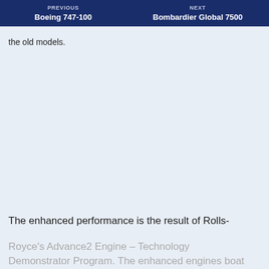PREVIOUS Boeing 747-100 | NEXT Bombardier Global 7500
the old models.
The enhanced performance is the result of Rolls-
Royce's Advance2 Engine – Technology Demonstrator Program. The enhanced engines boat